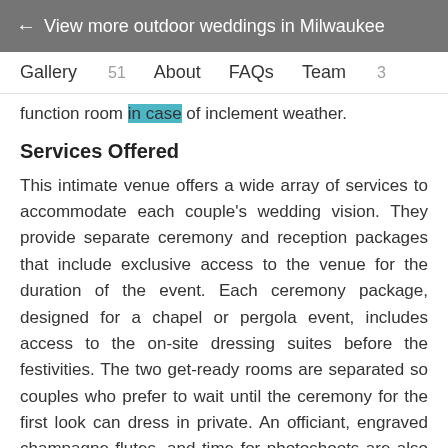← View more outdoor weddings in Milwaukee
Gallery 51   About   FAQs   Team 3
function room in case of inclement weather.
Services Offered
This intimate venue offers a wide array of services to accommodate each couple's wedding vision. They provide separate ceremony and reception packages that include exclusive access to the venue for the duration of the event. Each ceremony package, designed for a chapel or pergola event, includes access to the on-site dressing suites before the festivities. The two get-ready rooms are separated so couples who prefer to wait until the ceremony for the first look can dress in private. An officiant, engraved champagne flutes, and time for photoshoots are also included in these plans. For the reception, the venue has tables and chairs available for use during the event. Couples can also use the facility's da...